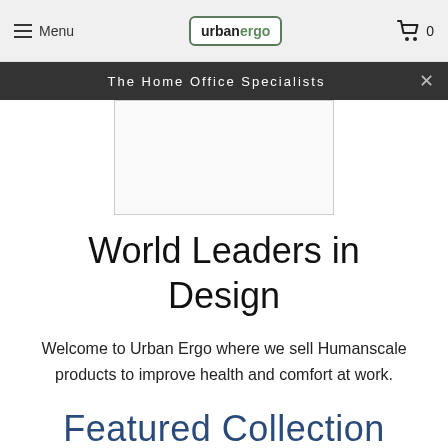Menu | urbanergo | 0
The Home Office Specialists
[Figure (photo): Product image placeholder rectangle]
World Leaders in Design
Welcome to Urban Ergo where we sell Humanscale products to improve health and comfort at work.
Featured Collection